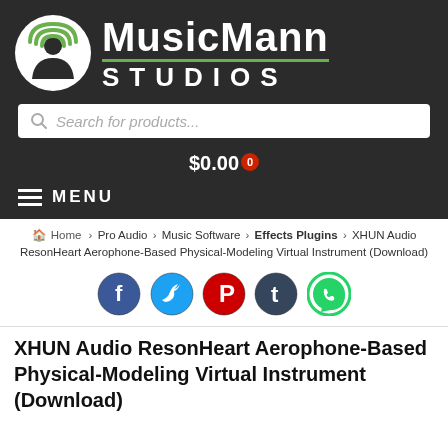[Figure (logo): MusicMann Studios logo with circular green signal icon and text]
[Figure (screenshot): Search bar with placeholder text 'Search for products...']
$0.00 0
MENU
Home › Pro Audio › Music Software › Effects Plugins › XHUN Audio ResonHeart Aerophone-Based Physical-Modeling Virtual Instrument (Download)
[Figure (illustration): Social share icons: Facebook, Twitter, Pinterest, Tumblr, WhatsApp]
XHUN Audio ResonHeart Aerophone-Based Physical-Modeling Virtual Instrument (Download)